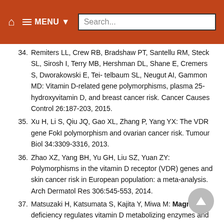MENU Search...
34. Remiters LL, Crew RB, Bradshaw PT, Santellu RM, Steck SL, Sirosh I, Terry MB, Hershman DL, Shane E, Cremers S, Dworakowski E, Tei- telbaum SL, Neugut AI, Gammon MD: Vitamin D-related gene polymorphisms, plasma 25-hydroxyvitamin D, and breast cancer risk. Cancer Causes Control 26:187-203, 2015.
35. Xu H, Li S, Qiu JQ, Gao XL, Zhang P, Yang YX: The VDR gene FokI polymorphism and ovarian cancer risk. Tumour Biol 34:3309-3316, 2013.
36. Zhao XZ, Yang BH, Yu GH, Liu SZ, Yuan ZY: Polymorphisms in the vitamin D receptor (VDR) genes and skin cancer risk in European population: a meta-analysis. Arch Dermatol Res 306:545-553, 2014.
37. Matsuzaki H, Katsumata S, Kajita Y, Miwa M: Magnesium deficiency regulates vitamin D metabolizing enzymes and